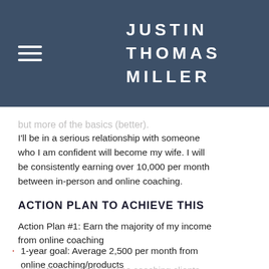JUSTIN THOMAS MILLER
but more of the basics (better).
I'll be in a serious relationship with someone who I am confident will become my wife. I will be consistently earning over 10,000 per month between in-person and online coaching.
ACTION PLAN TO ACHIEVE THIS
Action Plan #1: Earn the majority of my income from online coaching
1-year goal: Average 2,500 per month from online coaching/products
1 month goal: Add 5 online coaching clients